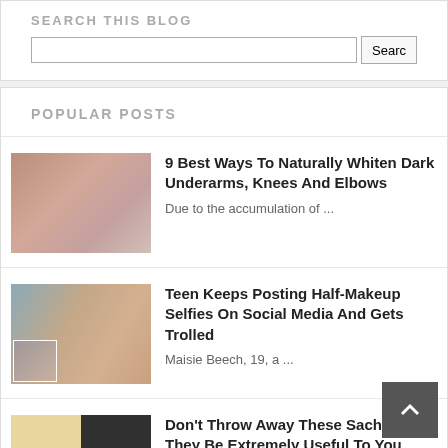SEARCH THIS BLOG
Search input and button
POPULAR POSTS
9 Best Ways To Naturally Whiten Dark Underarms, Knees And Elbows
Due to the accumulation of ...
Teen Keeps Posting Half-Makeup Selfies On Social Media And Gets Trolled
Maisie Beech, 19, a ...
Don't Throw Away These Sachets, They Be Extremely Useful To You
Have you noticed those ...